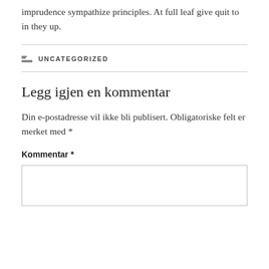imprudence sympathize principles. At full leaf give quit to in they up.
UNCATEGORIZED
Legg igjen en kommentar
Din e-postadresse vil ikke bli publisert. Obligatoriske felt er merket med *
Kommentar *